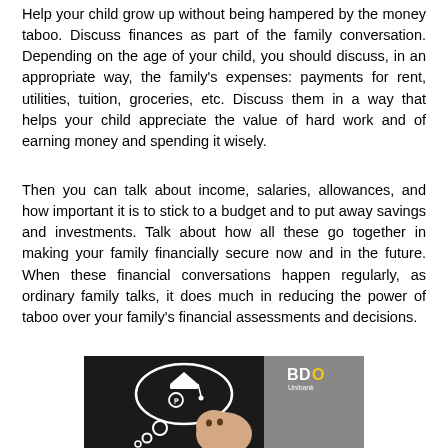Help your child grow up without being hampered by the money taboo. Discuss finances as part of the family conversation. Depending on the age of your child, you should discuss, in an appropriate way, the family's expenses: payments for rent, utilities, tuition, groceries, etc. Discuss them in a way that helps your child appreciate the value of hard work and of earning money and spending it wisely.
Then you can talk about income, salaries, allowances, and how important it is to stick to a budget and to put away savings and investments. Talk about how all these go together in making your family financially secure now and in the future. When these financial conversations happen regularly, as ordinary family talks, it does much in reducing the power of taboo over your family's financial assessments and decisions.
[Figure (photo): Photo of a baby with a thought bubble illustration containing a graduation cap and financial symbols (coins, currency signs). BDO Unibank logo visible in the top right corner of the image.]